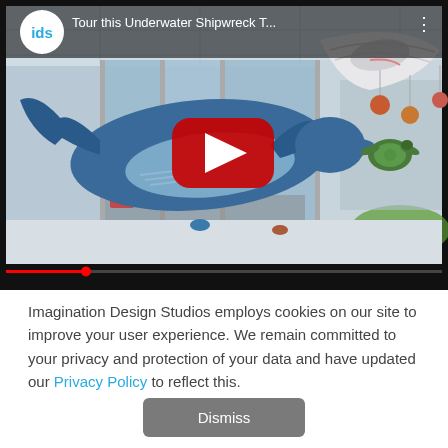[Figure (screenshot): YouTube video thumbnail showing an underwater shipwreck themed interior with large whale and manta ray sculptures hanging from the ceiling of what appears to be a building lobby, with a parking lot visible through floor-to-ceiling windows. A large red YouTube play button is centered on the thumbnail. The video title reads 'Tour this Underwater Shipwreck T...' and shows the IDS (Imagination Design Studios) channel logo.]
Imagination Design Studios employs cookies on our site to improve your user experience. We remain committed to your privacy and protection of your data and have updated our Privacy Policy to reflect this.
Dismiss